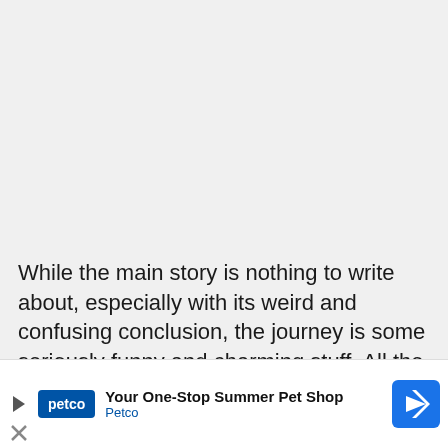While the main story is nothing to write about, especially with its weird and confusing conclusion, the journey is some seriously funny and charming stuff. All the enemies Shyna encounters have some funny dialogue that fits very well with their visual design. over-th... of
[Figure (other): Advertisement banner for Petco: 'Your One-Stop Summer Pet Shop' with Petco logo, play button, navigation arrow icon, and X close button]